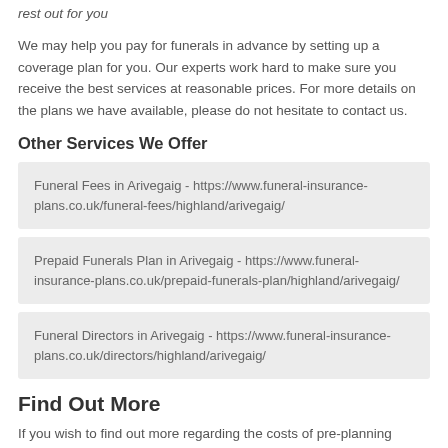rest out for you
We may help you pay for funerals in advance by setting up a coverage plan for you. Our experts work hard to make sure you receive the best services at reasonable prices. For more details on the plans we have available, please do not hesitate to contact us.
Other Services We Offer
Funeral Fees in Arivegaig - https://www.funeral-insurance-plans.co.uk/funeral-fees/highland/arivegaig/
Prepaid Funerals Plan in Arivegaig - https://www.funeral-insurance-plans.co.uk/prepaid-funerals-plan/highland/arivegaig/
Funeral Directors in Arivegaig - https://www.funeral-insurance-plans.co.uk/directors/highland/arivegaig/
Find Out More
If you wish to find out more regarding the costs of pre-planning funerals and the extras involved, please get in touch with our team